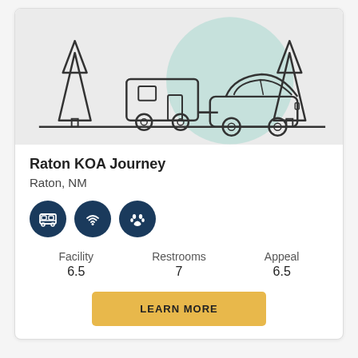[Figure (illustration): Camping scene illustration showing a car towing a camper trailer between two pine trees, with a large teal circle in the background, on a light gray background.]
Raton KOA Journey
Raton, NM
[Figure (infographic): Three dark navy circular icons: a bus/RV icon, a WiFi signal icon, and a paw print icon.]
| Facility | Restrooms | Appeal |
| --- | --- | --- |
| 6.5 | 7 | 6.5 |
LEARN MORE
3 Records